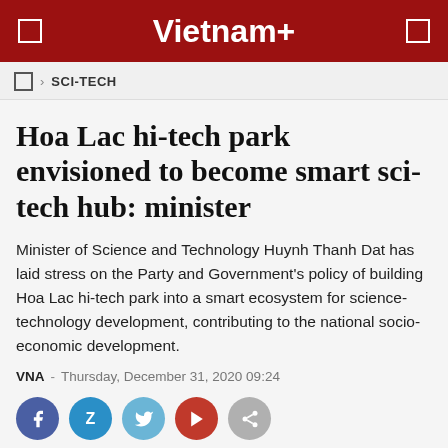Vietnam+
SCI-TECH
Hoa Lac hi-tech park envisioned to become smart sci-tech hub: minister
Minister of Science and Technology Huynh Thanh Dat has laid stress on the Party and Government's policy of building Hoa Lac hi-tech park into a smart ecosystem for science-technology development, contributing to the national socio-economic development.
VNA  -  Thursday, December 31, 2020 09:24